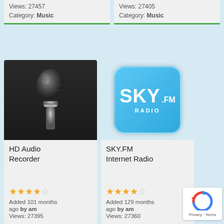Views: 27457
Category: Music
Views: 27405
Category: Music
[Figure (photo): Microphone on dark background - HD Audio Recorder app icon]
HD Audio Recorder
★★★★☆ Added 101 months ago by am Views: 27395
[Figure (logo): SKY.FM Radio rounded square app icon with blue background]
SKY.FM Internet Radio
★★★★☆ Added 129 months ago by am Views: 27360
[Figure (other): reCAPTCHA badge with Privacy and Terms links]